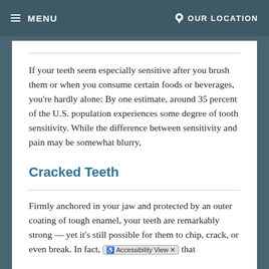≡ MENU   ♟ OUR LOCATION
If your teeth seem especially sensitive after you brush them or when you consume certain foods or beverages, you're hardly alone: By one estimate, around 35 percent of the U.S. population experiences some degree of tooth sensitivity. While the difference between sensitivity and pain may be somewhat blurry,
Cracked Teeth
Firmly anchored in your jaw and protected by an outer coating of tough enamel, your teeth are remarkably strong — yet it's still possible for them to chip, crack, or even break. In fact, [Accessibility View] that